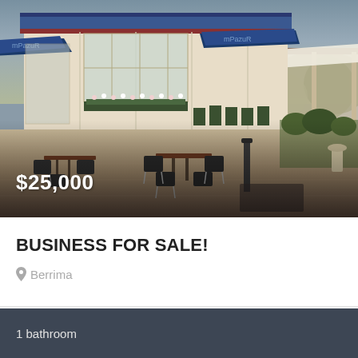[Figure (photo): Exterior photo of a cafe/restaurant business with outdoor seating, tables and chairs on a paved area, white building facade with windows and flower boxes, blue awnings, trees in background. Price overlay shows $25,000.]
BUSINESS FOR SALE!
Berrima
1 bathroom